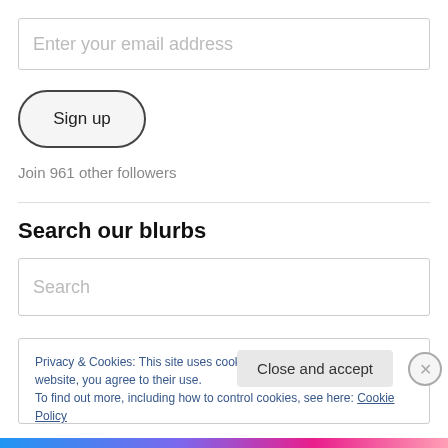Enter your email address
Sign up
Join 961 other followers
Search our blurbs
Search
Privacy & Cookies: This site uses cookies. By continuing to use this website, you agree to their use.
To find out more, including how to control cookies, see here: Cookie Policy
Close and accept